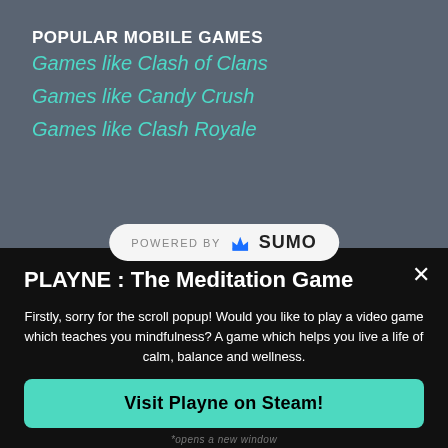POPULAR MOBILE GAMES
Games like Clash of Clans
Games like Candy Crush
Games like Clash Royale
[Figure (logo): Powered by SUMO logo badge with crown icon]
PLAYNE : The Meditation Game
Firstly, sorry for the scroll popup! Would you like to play a video game which teaches you mindfulness? A game which helps you live a life of calm, balance and wellness.
Visit Playne on Steam!
*opens a new window
NO THANKS